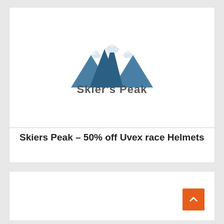[Figure (logo): Skier's Peak logo — stylized dark blue mountain range above the bold italic text 'Skier's Peak']
Skiers Peak – 50% off Uvex race Helmets